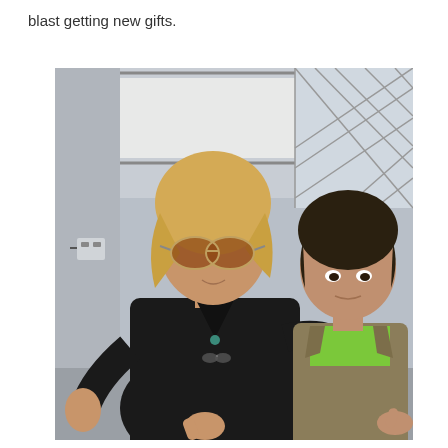blast getting new gifts.
[Figure (photo): Two men posing together indoors. The taller man on the left has blond hair, wears aviator sunglasses and a black v-neck t-shirt, and has his arm around the shorter man on the right. The shorter man wears a khaki jacket over a bright green shirt. The background shows large windows with a diamond lattice pattern and a bright outdoor view.]